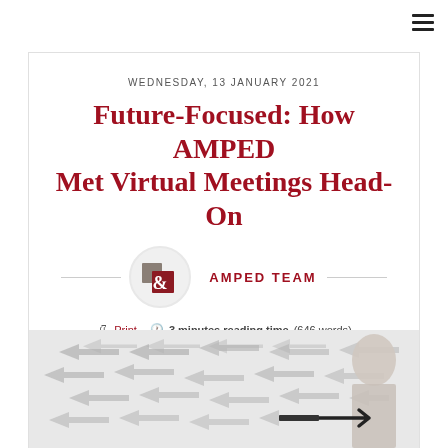≡
WEDNESDAY, 13 JANUARY 2021
Future-Focused: How AMPED Met Virtual Meetings Head-On
AMPED TEAM
Print · 3 minutes reading time (646 words) · Case Studies · 1192 Hits · 0 Comments
[Figure (photo): Person drawing arrows on a whiteboard, with multiple gray arrows pointing left in the background]